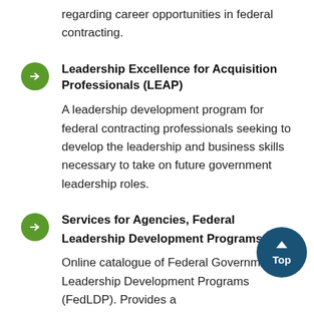regarding career opportunities in federal contracting.
Leadership Excellence for Acquisition Professionals (LEAP)

A leadership development program for federal contracting professionals seeking to develop the leadership and business skills necessary to take on future government leadership roles.
Services for Agencies, Federal Leadership Development Programs

Online catalogue of Federal Government Leadership Development Programs (FedLDP). Provides a